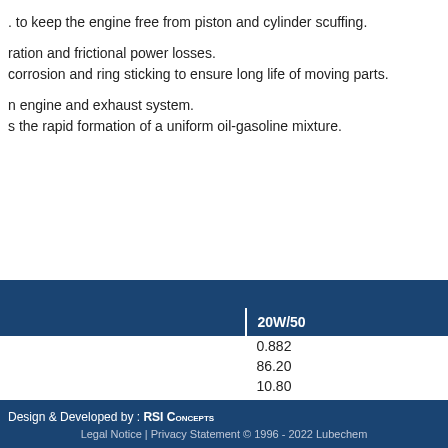to keep the engine free from piston and cylinder scuffing.
ration and frictional power losses.
corrosion and ring sticking to ensure long life of moving parts.
n engine and exhaust system.
s the rapid formation of a uniform oil-gasoline mixture.
|  | 20W/50 |
| --- | --- |
|  | 0.882 |
|  | 86.20 |
|  | 10.80 |
|  | 111 |
|  | 130 |
|  | -21 |
|  | 2.05 |
Design & Developed by : RSI CONCEPTS
Legal Notice | Privacy Statement © 1996 - 2022 Lubechem